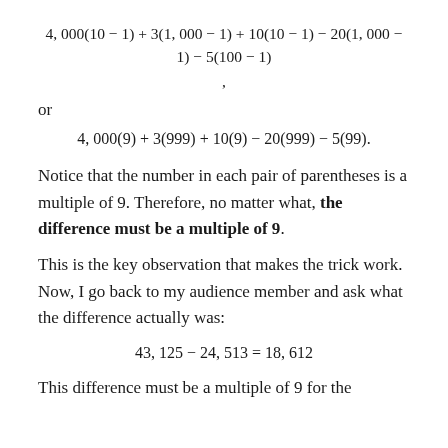or
Notice that the number in each pair of parentheses is a multiple of 9. Therefore, no matter what, the difference must be a multiple of 9.
This is the key observation that makes the trick work. Now, I go back to my audience member and ask what the difference actually was:
This difference must be a multiple of 9 for the